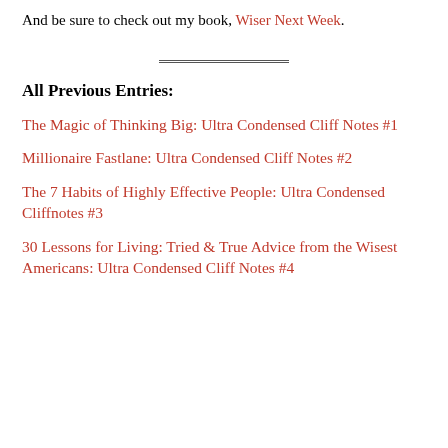And be sure to check out my book, Wiser Next Week.
All Previous Entries:
The Magic of Thinking Big: Ultra Condensed Cliff Notes #1
Millionaire Fastlane: Ultra Condensed Cliff Notes #2
The 7 Habits of Highly Effective People: Ultra Condensed Cliffnotes #3
30 Lessons for Living: Tried & True Advice from the Wisest Americans: Ultra Condensed Cliff Notes #4